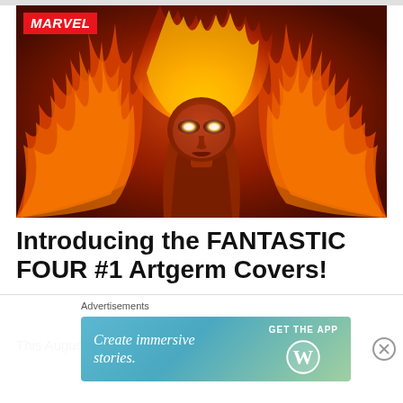[Figure (illustration): Marvel comic art illustration of the Human Torch (Fantastic Four) engulfed in fire with glowing white eyes and flames surrounding the figure against a fiery red/orange background. Marvel logo badge in top-left corner.]
Introducing the FANTASTIC FOUR #1 Artgerm Covers!
This August, Marvel is celebrating the launch of...
Advertisements
[Figure (screenshot): WordPress advertisement banner: 'Create immersive stories.' with 'GET THE APP' call to action and WordPress logo on a teal/green gradient background.]